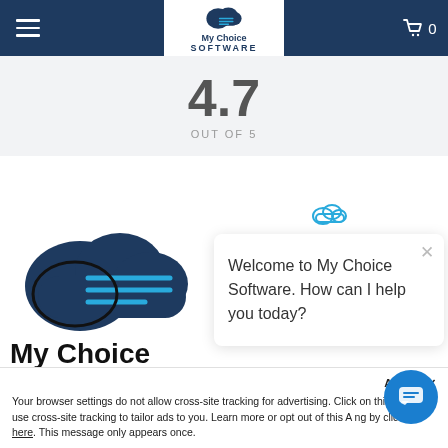[Figure (screenshot): My Choice Software website navigation bar with hamburger menu, centered logo, and cart icon showing 0]
4.7
OUT OF 5
[Figure (logo): My Choice Software large logo with cloud icon and bold text]
Welcome to My Choice Software. How can I help you today?
Accept
Your browser settings do not allow cross-site tracking for advertising. Click on this AdRoll to use cross-site tracking to tailor ads to you. Learn more or opt out of this A ng by clicking here. This message only appears once.